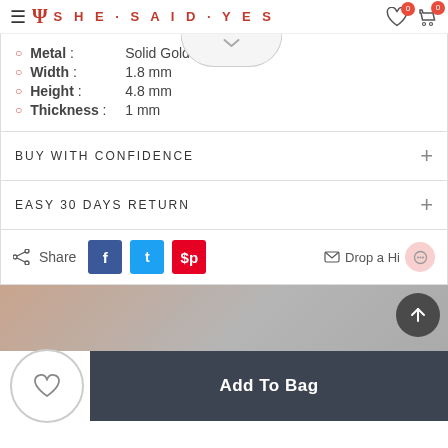SHE·SAID·YES
Metal : Solid Gold
Width : 1.8 mm
Height : 4.8 mm
Thickness : 1 mm
BUY WITH CONFIDENCE
EASY 30 DAYS RETURN
Share  Drop a Hint
[Figure (photo): Banner image area with product lifestyle photo and scroll-to-top button]
Add To Bag